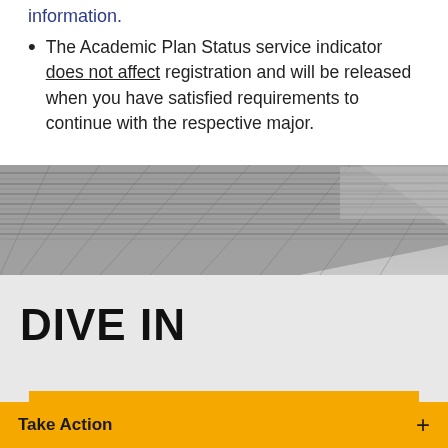information.
The Academic Plan Status service indicator does not affect registration and will be released when you have satisfied requirements to continue with the respective major.
[Figure (photo): Aerial or angled photograph of a building roof/structure with metallic/textured surface visible from above]
DIVE IN
CONTACT US :-
Take Action +